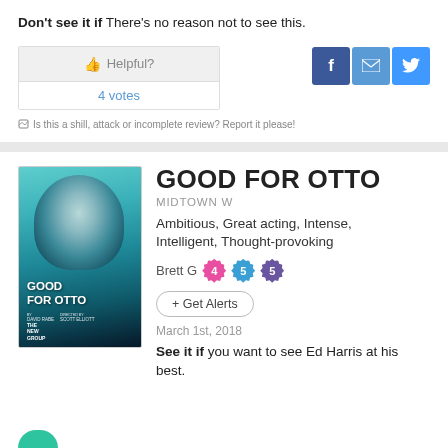Don't see it if There's no reason not to see this.
Helpful?
4 votes
[Figure (infographic): Social sharing buttons: Facebook (blue), Email (light blue), Twitter (blue)]
Is this a shill, attack or incomplete review? Report it please!
[Figure (photo): Good for Otto theatrical poster showing a man's face against a teal/blue background with text GOOD FOR OTTO, by David Rabe, directed by Scott Elliott, The New Group]
GOOD FOR OTTO
MIDTOWN W
Ambitious, Great acting, Intense, Intelligent, Thought-provoking
Brett G  4  5  5
+ Get Alerts
March 1st, 2018
See it if you want to see Ed Harris at his best.